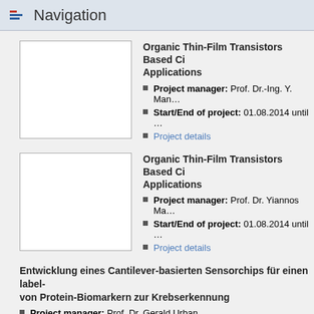Navigation
[Figure (other): Blank white image placeholder for first project]
Organic Thin-Film Transistors Based Ci… Applications
Project manager: Prof. Dr.-Ing. Y. Man…
Start/End of project: 01.08.2014 until …
Project details
[Figure (other): Blank white image placeholder for second project]
Organic Thin-Film Transistors Based Ci… Applications
Project manager: Prof. Dr. Yiannos Ma…
Start/End of project: 01.08.2014 until …
Project details
Entwicklung eines Cantilever-basierten Sensorchips für einen label- von Protein-Biomarkern zur Krebserkennung
Project manager: Prof. Dr. Gerald Urban
Start/End of project: 01.07.2014 until 31.03.2019